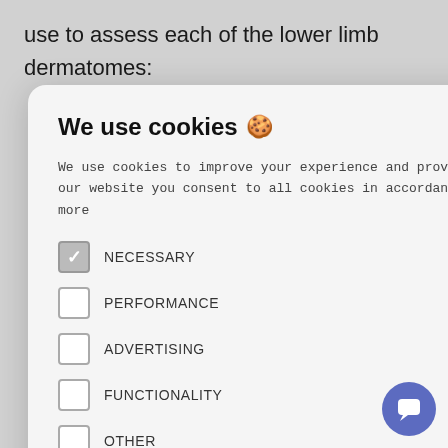use to assess each of the lower limb dermatomes:
the medial
nterior thigh
ankle
ig toe
ttle toe
[Figure (illustration): Hand/finger pointing illustration in orange/brown tones]
We use cookies 🍪
We use cookies to improve your experience and provide relevant advertising. By using our website you consent to all cookies in accordance with our Cookie Policy. Read more
NECESSARY
PERFORMANCE
ADVERTISING
FUNCTIONALITY
OTHER
ACCEPT ALL